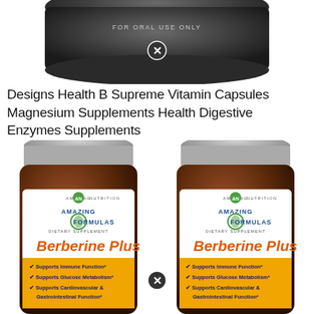[Figure (photo): Top portion of a supplement bottle with dark lid, partially cropped, with a close/remove icon overlaid]
Designs Health B Supreme Vitamin Capsules Magnesium Supplements Health Digestive Enzymes Supplements
[Figure (photo): Two Amazing Formulas Berberine Plus dietary supplement bottles side by side, showing labels with bullet points: Supports Immune Function, Supports Glucose Metabolism, Supports Cardiovascular & Gastrointestinal Function. A close/remove icon overlaid between the two bottles at the bottom.]